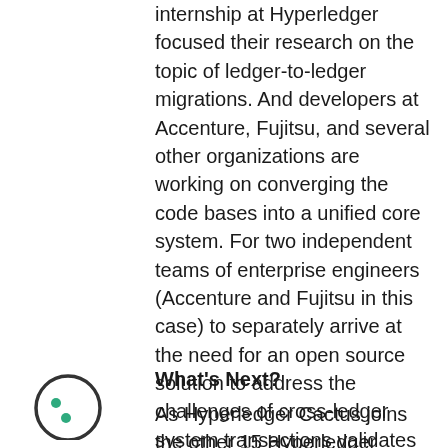internship at Hyperledger focused their research on the topic of ledger-to-ledger migrations. And developers at Accenture, Fujitsu, and several other organizations are working on converging the code bases into a unified core system. For two independent teams of enterprise engineers (Accenture and Fujitsu in this case) to separately arrive at the need for an open source solution to address the challenges of cross-ledger system transactions validates both the size of the problem space and the veracity of the Hyperledger Cactus approach to addressing it.
[Figure (illustration): Cookie icon — a circle outline with two small green dots inside, resembling a cookie or Hyperledger logo]
What's Next?
As Hyperledger Cactus joins the other 15 Hyperledger projects in the greenhouse